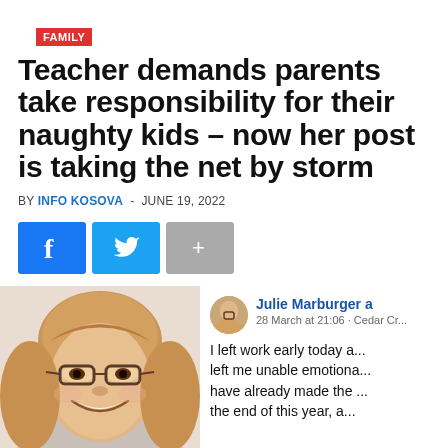FAMILY
Teacher demands parents take responsibility for their naughty kids – now her post is taking the net by storm
BY INFO KOSOVA - JUNE 19, 2022
[Figure (infographic): Three social share buttons: Facebook (blue), Twitter (light blue), and a grey plus/more button]
[Figure (photo): Photo of a smiling woman with glasses and shoulder-length brown hair, cropped at bottom of page]
[Figure (screenshot): Facebook post by Julie Marburger, dated 28 March at 21:06, Cedar Cr..., text reads: I left work early today a... left me unable emotiona... have already made the... the end of this year, a...]